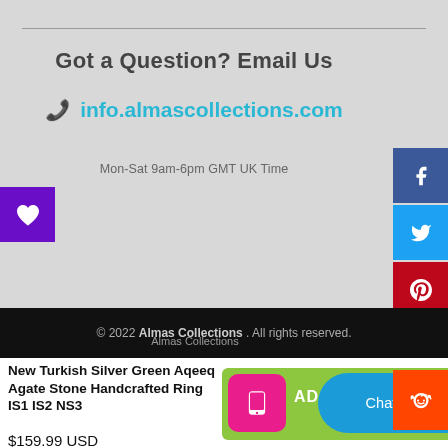Got a Question? Email Us
info.almascollections.com
Mon-Sat 9am-6pm GMT UK Time
[Figure (other): Heart/wishlist button (purple)]
[Figure (other): Social media icons: Facebook, Twitter, Pinterest, Instagram, Reddit]
© 2022 Almas Collections . All rights reserved.
New Turkish Silver Green Aqeeq Agate Stone Handcrafted Ring IS1 IS2 NS3
$159.99 USD
[Figure (other): Green bar with pink phone button, AD text, blue Chat with us button]